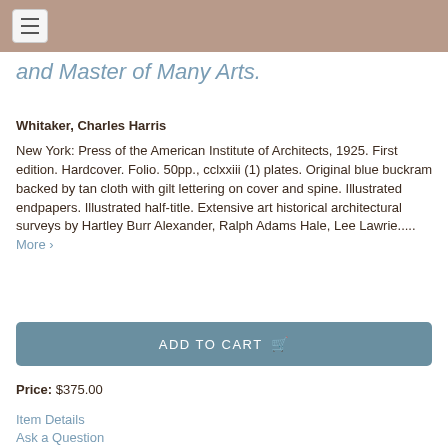and Master of Many Arts.
Whitaker, Charles Harris
New York: Press of the American Institute of Architects, 1925. First edition. Hardcover. Folio. 50pp., cclxxiii (1) plates. Original blue buckram backed by tan cloth with gilt lettering on cover and spine. Illustrated endpapers. Illustrated half-title. Extensive art historical architectural surveys by Hartley Burr Alexander, Ralph Adams Hale, Lee Lawrie..... More >
ADD TO CART
Price: $375.00
Item Details
Ask a Question